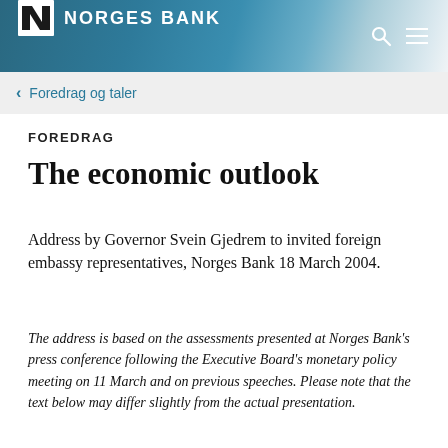NORGES BANK
Foredrag og taler
FOREDRAG
The economic outlook
Address by Governor Svein Gjedrem to invited foreign embassy representatives, Norges Bank 18 March 2004.
The address is based on the assessments presented at Norges Bank's press conference following the Executive Board's monetary policy meeting on 11 March and on previous speeches. Please note that the text below may differ slightly from the actual presentation.